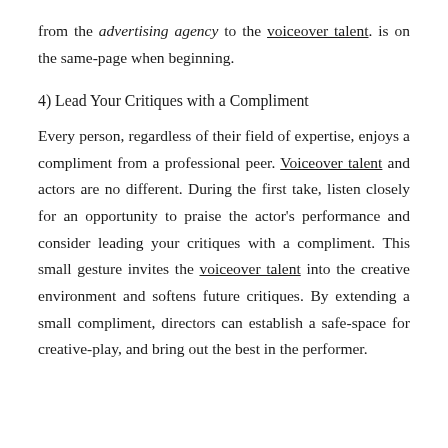from the advertising agency to the voiceover talent. is on the same-page when beginning.
4) Lead Your Critiques with a Compliment
Every person, regardless of their field of expertise, enjoys a compliment from a professional peer. Voiceover talent and actors are no different. During the first take, listen closely for an opportunity to praise the actor's performance and consider leading your critiques with a compliment. This small gesture invites the voiceover talent into the creative environment and softens future critiques. By extending a small compliment, directors can establish a safe-space for creative-play, and bring out the best in the performer.